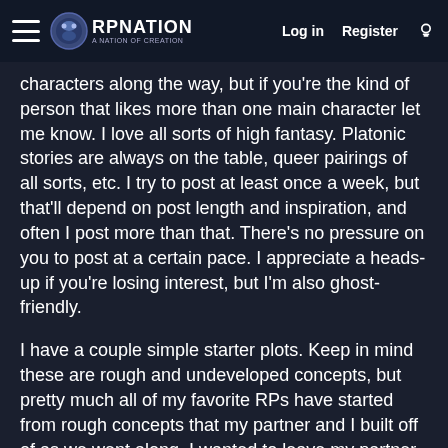RP Nation — Log in | Register
characters along the way, but if you're the kind of person that likes more than one main character let me know. I love all sorts of high fantasy. Platonic stories are always on the table, queer pairings of all sorts, etc. I try to post at least once a week, but that'll depend on post length and inspiration, and often I post more than that. There's no pressure on you to post at a certain pace. I appreciate a heads-up if you're losing interest, but I'm also ghost-friendly.
I have a couple simple starter plots. Keep in mind these are rough and undeveloped concepts, but pretty much all of my favorite RPs have started from rough concepts that my partner and I built off of as we went along. I wanted to leave my partner a lot of creative freedom, so if there are details you want to change, any ideas you have to build off of it, I'd love to hear it. Especially details about your character. Right now, I'm kind of in the mood to play a darker character, possibly someone more on the mischievous side.